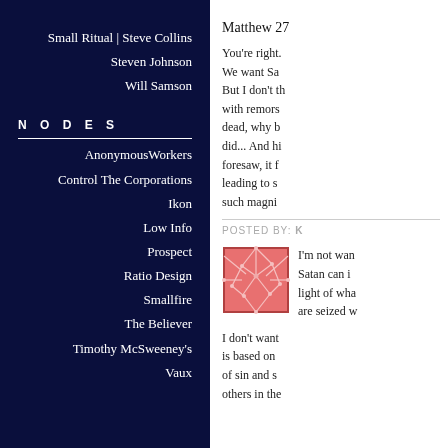Small Ritual | Steve Collins
Steven Johnson
Will Samson
N O D E S
AnonymousWorkers
Control The Corporations
Ikon
Low Info
Prospect
Ratio Design
Smallfire
The Believer
Timothy McSweeney's
Vaux
Matthew 27
You're right. We want Sa But I don't th with remors dead, why b did... And hi foresaw, it f leading to s such magni
POSTED BY: K
[Figure (illustration): Small square avatar image with a reddish-pink cracked/networked pattern on a light background]
I'm not wan Satan can i light of wha are seized w
I don't want is based on of sin and s others in the